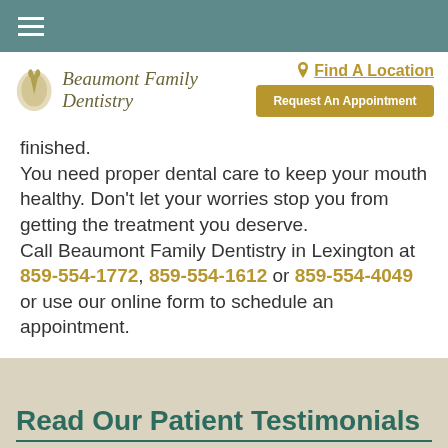Navigation bar with hamburger menu
[Figure (logo): Beaumont Family Dentistry logo with deer/tooth icon and script text]
Find A Location
Request An Appointment
finished.
You need proper dental care to keep your mouth healthy. Don’t let your worries stop you from getting the treatment you deserve.
Call Beaumont Family Dentistry in Lexington at 859-554-1772, 859-554-1612 or 859-554-4049 or use our online form to schedule an appointment.
Read Our Patient Testimonials